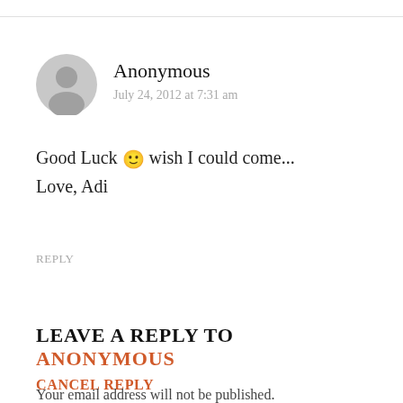[Figure (illustration): Gray anonymous user avatar icon (silhouette of a person in a circle)]
Anonymous
July 24, 2012 at 7:31 am
Good Luck 🙂 wish I could come...
Love, Adi
REPLY
LEAVE A REPLY TO ANONYMOUS
CANCEL REPLY
Your email address will not be published.